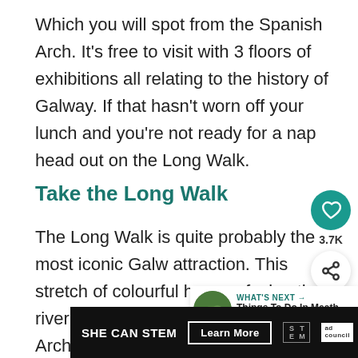Which you will spot from the Spanish Arch. It's free to visit with 3 floors of exhibitions all relating to the history of Galway. If that hasn't worn off your lunch and you're not ready for a nap head out on the Long Walk.
Take the Long Walk
The Long Walk is quite probably the most iconic Galw attraction. This stretch of colourful houses facing the river can be seen near the Spanish Arch. A lo walk.
[Figure (screenshot): Floating UI overlay with heart/like button showing 3.7K and a share button]
[Figure (screenshot): What's Next panel showing a circular thumbnail of green fields and text 'Things To Do In Meath - 37...']
[Figure (screenshot): SHE CAN STEM advertisement banner with Learn More button, STEM logo and ad council badge]